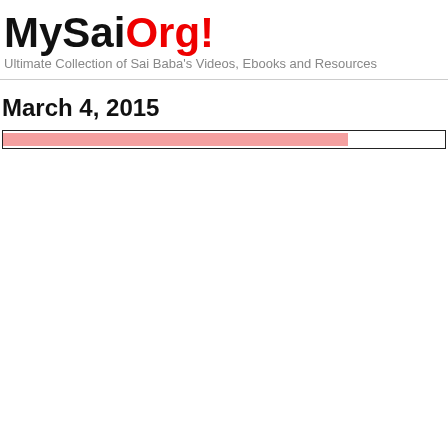MySaiOrg! Ultimate Collection of Sai Baba's Videos, Ebooks and Resources
March 4, 2015
[Figure (other): A horizontal bar element with a pinkish-red fill inside a dark-bordered container, representing a link or progress bar on a webpage.]